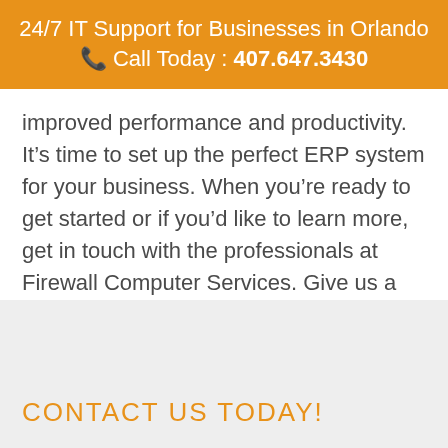24/7 IT Support for Businesses in Orlando 📞 Call Today : 407.647.3430
improved performance and productivity. It's time to set up the perfect ERP system for your business. When you're ready to get started or if you'd like to learn more, get in touch with the professionals at Firewall Computer Services. Give us a call at (407) 647-3430 today.
CONTACT US TODAY!